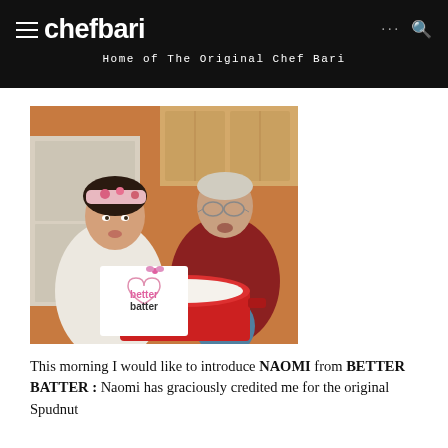chefbari — Home of The Original Chef Bari
[Figure (photo): A young woman wearing a floral headband and white blouse stands next to an older man in a red sweater; both are looking into a large red cooking pot. A 'better batter' logo overlay appears in the lower left of the photo.]
This morning I would like to introduce NAOMI from BETTER BATTER : Naomi has graciously credited me for the original Spudnut